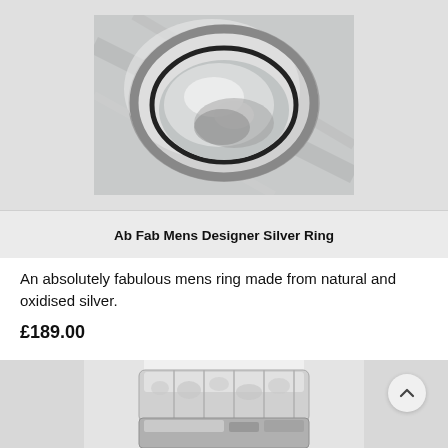[Figure (photo): Top-down photo of a men's silver ring with oxidised band accent, shot on a light grey background]
Ab Fab Mens Designer Silver Ring
An absolutely fabulous mens ring made from natural and oxidised silver.
£189.00
[Figure (photo): Photo of a textured hammered silver ring with segmented pattern, partially visible, on white background]